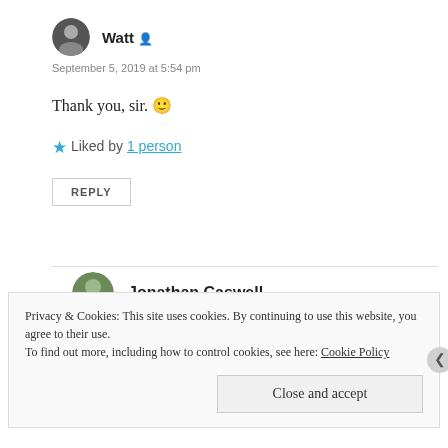Watt
September 5, 2019 at 5:54 pm
Thank you, sir. 🙂
★ Liked by 1 person
REPLY
Jonathan Caswell
September 5, 2019 at 6:05 pm
Privacy & Cookies: This site uses cookies. By continuing to use this website, you agree to their use. To find out more, including how to control cookies, see here: Cookie Policy
Close and accept